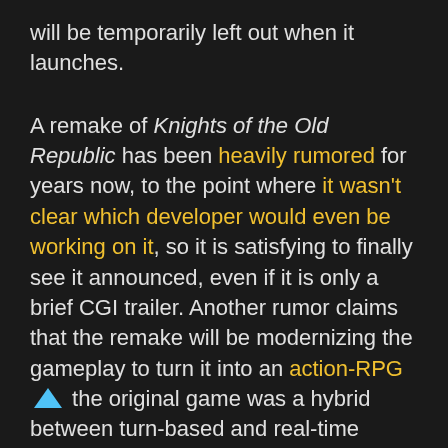will be temporarily left out when it launches.
A remake of Knights of the Old Republic has been heavily rumored for years now, to the point where it wasn't clear which developer would even be working on it, so it is satisfying to finally see it announced, even if it is only a brief CGI trailer. Another rumor claims that the remake will be modernizing the gameplay to turn it into an action-RPG the original game was a hybrid between turn-based and real-time RPG. A release date has not been announced yet.